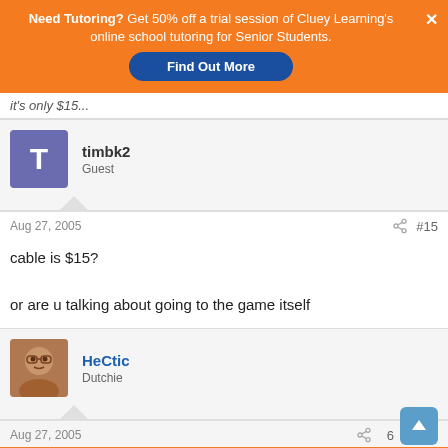[Figure (screenshot): Orange advertisement banner: 'Need Tutoring? Get 50% off a trial session of Cluey Learning's online school tutoring for Senior Students.' with a blue 'Find Out More' button and white X close button.]
it's only $15...
timbk2
Guest
Aug 27, 2005    #15
cable is $15?

or are u talking about going to the game itself
HeCtic
Dutchie
Aug 27, 2005    #16